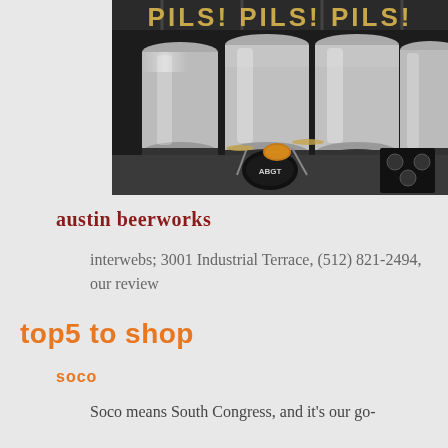[Figure (photo): Interior of Austin Beerworks brewery showing large stainless steel fermentation tanks and a drum kit set up in front of them. A sign reading PILS! PILS! PILS! is visible at the top.]
austin beerworks
interwebs; 3001 Industrial Terrace, (512) 821-2494, our review
top5 to shop
soco
Soco means South Congress, and it's our go-